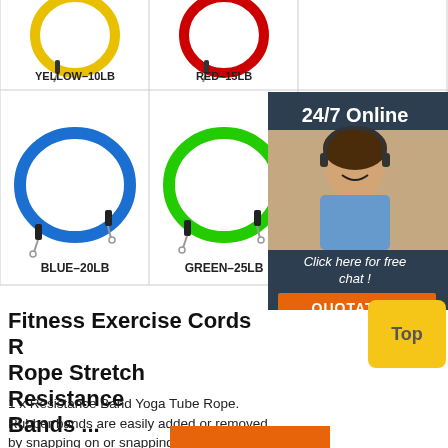[Figure (photo): Product image showing resistance bands in various colors arranged in a 3-column grid. Top row labels: YELLOW-10LB, RED-15LB. Bottom row shows BLUE-20LB, GREEN-25LB, BLACK (partially visible). Overlaid with a 24/7 Online customer service chat widget with a woman wearing headset and a QUOTATION button.]
Fitness Exercise Cords R Rope Stretch Resistance Bands ...
1 x Resistance Band Yoga Tube Rope. Rubber bands are easily added or removed by snapping on or snapping off action. It also has a strong the fitness effect. Our resistance tubings are made of professional quality natural rubber latex.